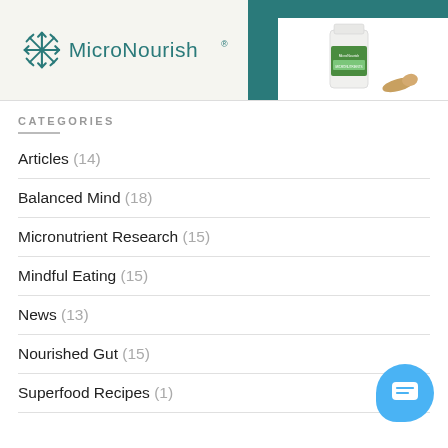[Figure (logo): MicroNourish logo with snowflake-like icon and brand name]
[Figure (photo): Product photo: MicroNourish supplement bottle with capsule, on teal background]
CATEGORIES
Articles (14)
Balanced Mind (18)
Micronutrient Research (15)
Mindful Eating (15)
News (13)
Nourished Gut (15)
Superfood Recipes (1)